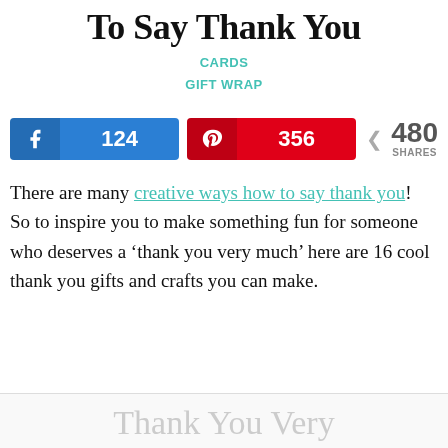To Say Thank You
CARDS
GIFT WRAP
[Figure (infographic): Social share bar showing Facebook button with 124 shares, Pinterest button with 356 shares, and total of 480 SHARES]
There are many creative ways how to say thank you!  So to inspire you to make something fun for someone who deserves a ‘thank you very much’ here are 16 cool thank you gifts and crafts you can make.
Thank You Very